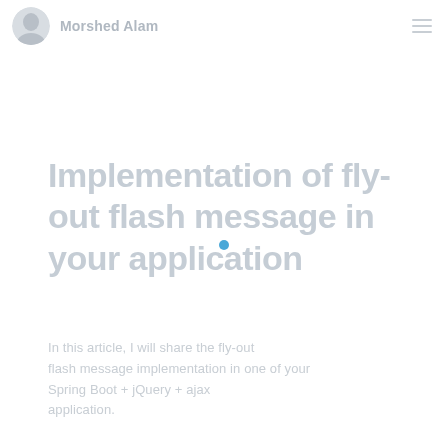Morshed Alam
Implementation of fly-out flash message in your application
In this article, I will share the fly-out flash message implementation in one of your Spring Boot + jQuery + ajax application.